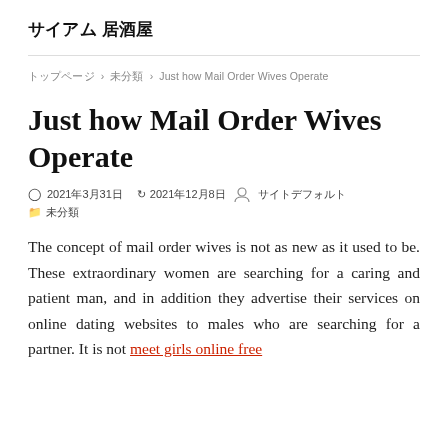サイアム 居酒屋
トップページ › 未分類 › Just how Mail Order Wives Operate
Just how Mail Order Wives Operate
2021年3月31日  2021年12月8日  サイトデフォルト
未分類
The concept of mail order wives is not as new as it used to be. These extraordinary women are searching for a caring and patient man, and in addition they advertise their services on online dating websites to males who are searching for a partner. It is not meet girls online free